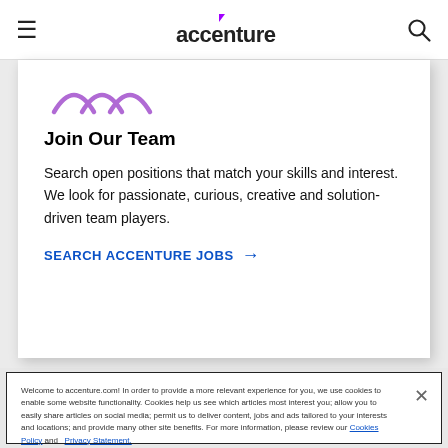accenture
[Figure (illustration): Purple arc/mountains icon representing Accenture team or careers section]
Join Our Team
Search open positions that match your skills and interest. We look for passionate, curious, creative and solution-driven team players.
SEARCH ACCENTURE JOBS →
Welcome to accenture.com! In order to provide a more relevant experience for you, we use cookies to enable some website functionality. Cookies help us see which articles most interest you; allow you to easily share articles on social media; permit us to deliver content, jobs and ads tailored to your interests and locations; and provide many other site benefits. For more information, please review our Cookies Policy and Privacy Statement.
❯ Cookies Settings